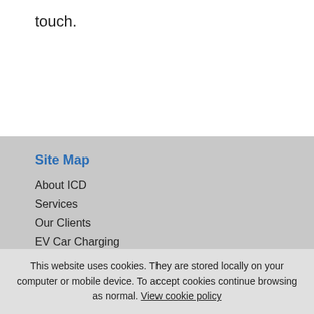touch.
Site Map
About ICD
Services
Our Clients
EV Car Charging
Contact Us
Registered Office
ICD Electrical Contractors Ltd
1d Hartlepools Street
Co Durham
This website uses cookies. They are stored locally on your computer or mobile device. To accept cookies continue browsing as normal. View cookie policy